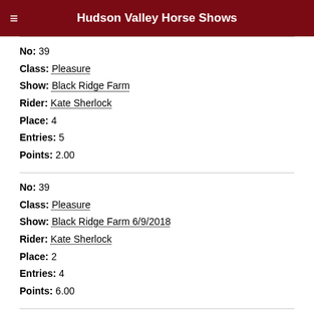Hudson Valley Horse Shows
No: 39
Class: Pleasure
Show: Black Ridge Farm
Rider: Kate Sherlock
Place: 4
Entries: 5
Points: 2.00
No: 39
Class: Pleasure
Show: Black Ridge Farm 6/9/2018
Rider: Kate Sherlock
Place: 2
Entries: 4
Points: 6.00
No: 38
Class: Pay Back Class
Show: Black Ridge Farm 6/9/2018
Rider: Kate Sherlock